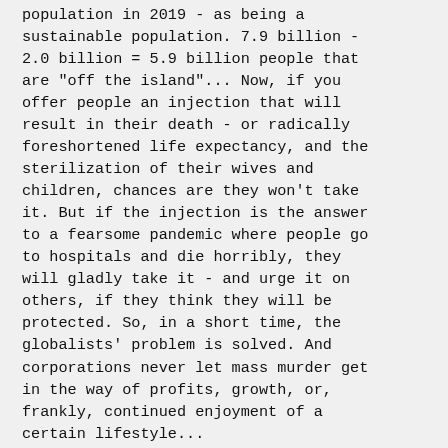population in 2019 - as being a sustainable population. 7.9 billion - 2.0 billion = 5.9 billion people that are "off the island"... Now, if you offer people an injection that will result in their death - or radically foreshortened life expectancy, and the sterilization of their wives and children, chances are they won't take it. But if the injection is the answer to a fearsome pandemic where people go to hospitals and die horribly, they will gladly take it - and urge it on others, if they think they will be protected. So, in a short time, the globalists' problem is solved. And corporations never let mass murder get in the way of profits, growth, or, frankly, continued enjoyment of a certain lifestyle...